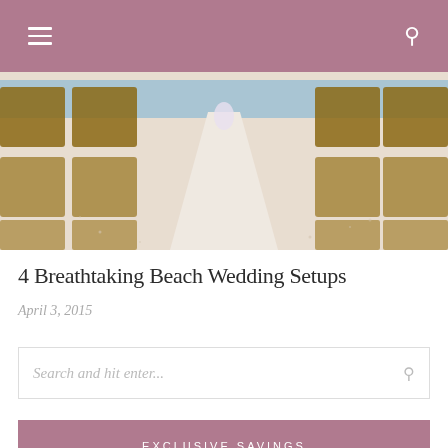Navigation bar with hamburger menu and search icon
[Figure (photo): Beach wedding setup with wooden chairs arranged in rows on white sand, with ocean in background]
4 Breathtaking Beach Wedding Setups
April 3, 2015
Search and hit enter...
EXCLUSIVE SAVINGS
[Figure (photo): Tropical green leaves and foliage]